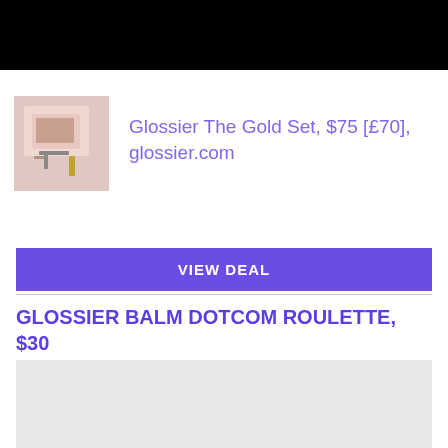[Figure (photo): Black bar at top of page]
[Figure (photo): Small product photo showing Glossier Gold Set makeup items on a pink surface]
Glossier The Gold Set, $75 [£70], glossier.com
VIEW DEAL
GLOSSIER BALM DOTCOM ROULETTE, $30
[Figure (photo): Gray placeholder image box]